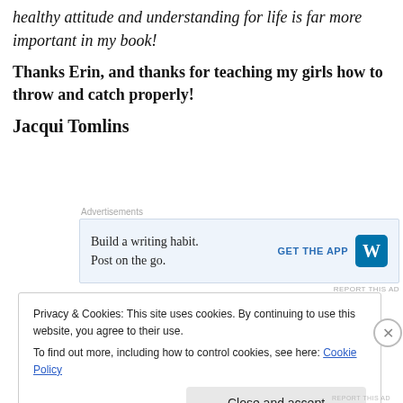healthy attitude and understanding for life is far more important in my book!
Thanks Erin, and thanks for teaching my girls how to throw and catch properly!
Jacqui Tomlins
[Figure (other): WordPress advertisement banner: 'Build a writing habit. Post on the go.' with GET THE APP button and WordPress logo]
Privacy & Cookies: This site uses cookies. By continuing to use this website, you agree to their use.
To find out more, including how to control cookies, see here: Cookie Policy
Close and accept